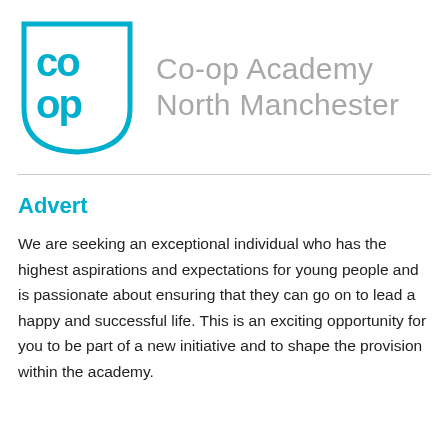[Figure (logo): Co-op Academy North Manchester logo: a cyan shield shape with 'co op' text inside, next to the text 'Co-op Academy North Manchester' in grey]
Advert
We are seeking an exceptional individual who has the highest aspirations and expectations for young people and is passionate about ensuring that they can go on to lead a happy and successful life. This is an exciting opportunity for you to be part of a new initiative and to shape the provision within the academy.